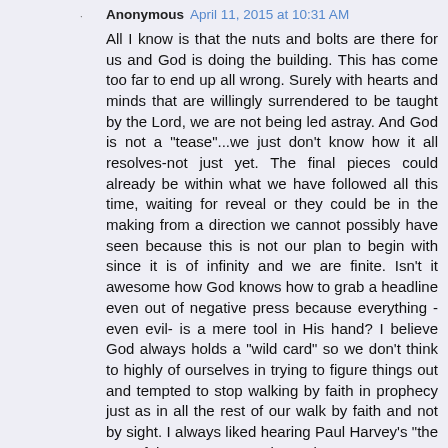Anonymous April 11, 2015 at 10:31 AM
All I know is that the nuts and bolts are there for us and God is doing the building. This has come too far to end up all wrong. Surely with hearts and minds that are willingly surrendered to be taught by the Lord, we are not being led astray. And God is not a "tease"...we just don't know how it all resolves-not just yet. The final pieces could already be within what we have followed all this time, waiting for reveal or they could be in the making from a direction we cannot possibly have seen because this is not our plan to begin with since it is of infinity and we are finite. Isn't it awesome how God knows how to grab a headline even out of negative press because everything -even evil- is a mere tool in His hand? I believe God always holds a "wild card" so we don't think to highly of ourselves in trying to figure things out and tempted to stop walking by faith in prophecy just as in all the rest of our walk by faith and not by sight. I always liked hearing Paul Harvey's "the rest of the story". Honestly, God